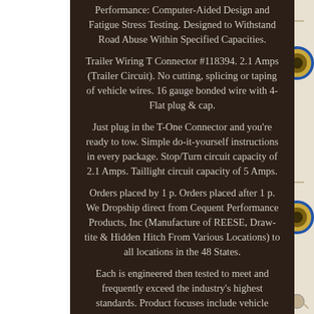Performance: Computer-Aided Design and Fatigue Stress Testing. Designed to Withstand Road Abuse Within Specified Capacities.
Trailer Wiring T Connector #118394. 2.1 Amps (Trailer Circuit). No cutting, splicing or taping of vehicle wires. 16 gauge bonded wire with 4-Flat plug & cap.
Just plug in the T-One Connector and you're ready to tow. Simple do-it-yourself instructions in every package. Stop/Turn circuit capacity of 2.1 Amps. Taillight circuit capacity of 5 Amps.
Orders placed by 1 p. Orders placed after 1 p. We Dropship direct from Cequent Performance Products, Inc (Manufacture of REESE, Draw-tite & Hidden Hitch From Various Locations) to all locations in the 48 States.
Each is engineered then tested to meet and frequently exceed the industry's highest standards. Product focuses include vehicle